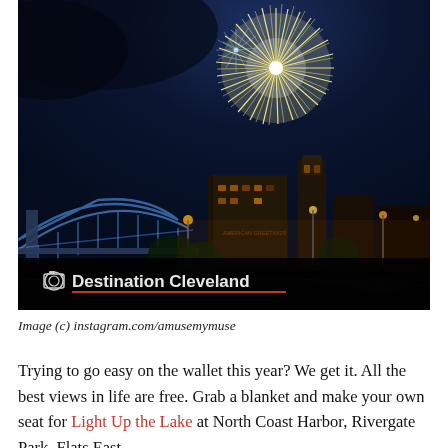[Figure (photo): Night photo of fireworks over Cleveland skyline with a bridge illuminated in blue on the left, city buildings and orange street lights below, and a large fireworks burst in the upper center-right of the sky. Crowds visible at bottom right.]
📷  Destination Cleveland
Image (c) instagram.com/amusemymuse
Trying to go easy on the wallet this year? We get it. All the best views in life are free. Grab a blanket and make your own seat for Light Up the Lake at North Coast Harbor, Rivergate Park, Flats East